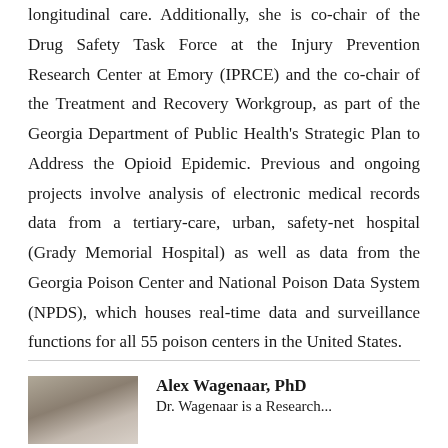longitudinal care. Additionally, she is co-chair of the Drug Safety Task Force at the Injury Prevention Research Center at Emory (IPRCE) and the co-chair of the Treatment and Recovery Workgroup, as part of the Georgia Department of Public Health's Strategic Plan to Address the Opioid Epidemic. Previous and ongoing projects involve analysis of electronic medical records data from a tertiary-care, urban, safety-net hospital (Grady Memorial Hospital) as well as data from the Georgia Poison Center and National Poison Data System (NPDS), which houses real-time data and surveillance functions for all 55 poison centers in the United States.
[Figure (photo): Headshot photo of Alex Wagenaar, PhD]
Alex Wagenaar, PhD
Dr. Wagenaar is a Research...